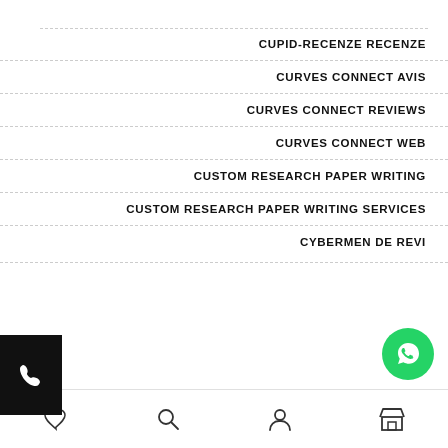CUPID-RECENZE RECENZE
CURVES CONNECT AVIS
CURVES CONNECT REVIEWS
CURVES CONNECT WEB
CUSTOM RESEARCH PAPER WRITING
CUSTOM RESEARCH PAPER WRITING SERVICES
CYBERMEN DE REVI…
[Figure (other): Black square button with white phone handset icon (click-to-call widget)]
[Figure (other): Green circular WhatsApp chat button with white WhatsApp icon]
[Figure (other): Bottom navigation bar with four icons: heart (wishlist), magnifying glass (search), person (account), storefront (shop)]